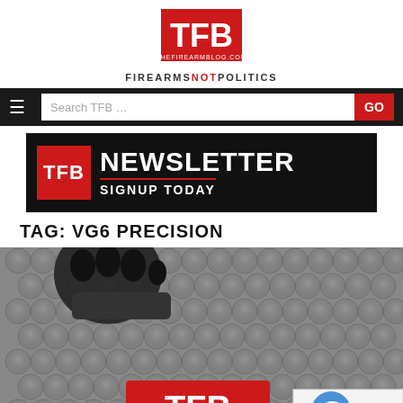[Figure (logo): TFB (The Firearm Blog) logo with red background and white TFB text, with tagline FIREARMS NOT POLITICS below]
[Figure (screenshot): Navigation bar with hamburger menu, search box showing 'Search TFB ...', and red GO button]
[Figure (infographic): TFB Newsletter Signup Today banner with red TFB box on black background]
TAG: VG6 PRECISION
[Figure (photo): Close-up photo of a firearm muzzle device (appears to be a muzzle brake or compensator) on bubble wrap, with a red TFB patch/tag visible at bottom]